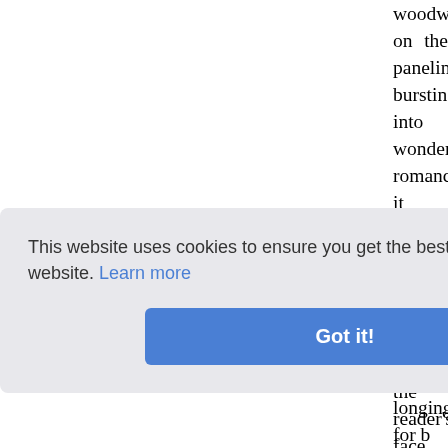woodwork on the paneling bursting into wonderful romance it about on early au windows and the reader's face glowed pulpit. And surely these tales of saints, sung with long pauses and on a monoto the message of what he read—surely thi itself so gross a thing, than the feve officiousness of paid servants.
After a general washing of hands the m or other games; the Prior first distribu labour with a commendation of it to G time of study, they re-assembled in the performed with the ceremonial proper observed or Collat d warm t npline wa
limaxes with the day's work, and longing for b
This website uses cookies to ensure you get the best experience on our website. Learn more
Got it!